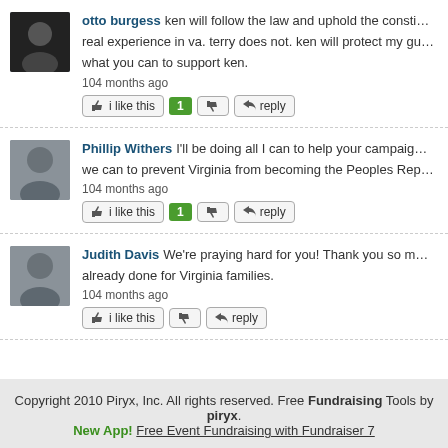otto burgess ken will follow the law and uphold the consti... real experience in va. terry does not. ken will protect my gu... what you can to support ken. 104 months ago
Phillip Withers I'll be doing all I can to help your campaig... we can to prevent Virginia from becoming the Peoples Rep... 104 months ago
Judith Davis We're praying hard for you! Thank you so m... already done for Virginia families. 104 months ago
Copyright 2010 Piryx, Inc. All rights reserved. Free Fundraising Tools by piryx. New App! Free Event Fundraising with Fundraiser 7